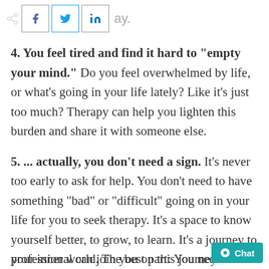[Figure (other): Social share buttons: Facebook (f), Twitter bird, LinkedIn (in) icons in bordered boxes, with a share icon and partial text 'ay.' visible]
4. You feel tired and find it hard to "empty your mind." Do you feel overwhelmed by life, or what's going in your life lately? Like it's just too much? Therapy can help you lighten this burden and share it with someone else.
5. ... actually, you don't need a sign. It's never too early to ask for help. You don't need to have something "bad" or "difficult" going on in your life for you to seek therapy. It's a space to know yourself better, to grow, to learn. It's a journey to your inner world. The best part: You need not venture on your own. A mental health professional can join you on this journey and